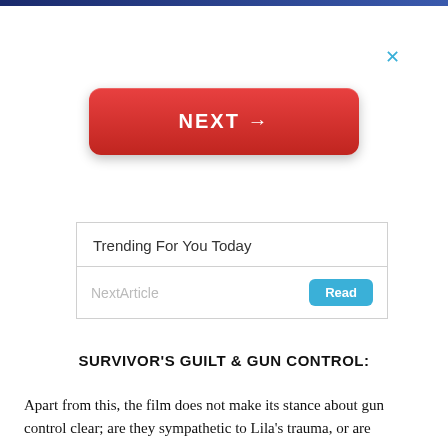[Figure (screenshot): Red NEXT → button with rounded corners on white background, with a close X in the upper right]
[Figure (screenshot): Trending For You Today widget with NextArticle label and a teal Read button]
SURVIVOR'S GUILT & GUN CONTROL:
Apart from this, the film does not make its stance about gun control clear; are they sympathetic to Lila's trauma, or are